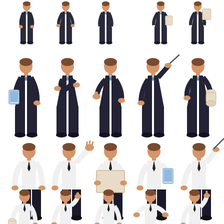[Figure (illustration): A collection of cartoon-style businessmen illustrations in various poses. Top row: five male figures in dark suits with blue ties shown in different standing poses. Middle row: five male figures in dark suits with blue ties holding or doing various things including a tablet, arms crossed, thumbs up, pointing with a stick, and holding rolled papers. Third row: five male figures in white shirts with black ties in various poses including waving, holding a blank sign, holding a tablet, and pointing with a stick. Bottom row: five male figures in white shirts with black ties in various gestures including holding rolled papers, thumbs up, neutral, gesturing with both hands, and pointing upward.]